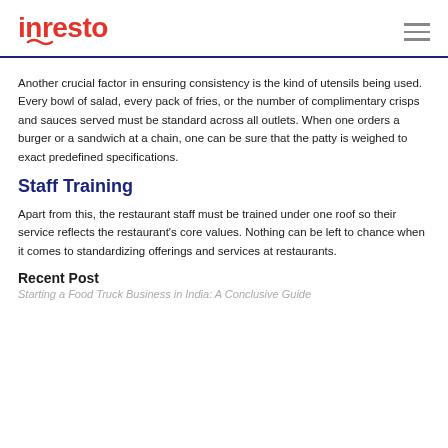inresto
Another crucial factor in ensuring consistency is the kind of utensils being used. Every bowl of salad, every pack of fries, or the number of complimentary crisps and sauces served must be standard across all outlets. When one orders a burger or a sandwich at a chain, one can be sure that the patty is weighed to exact predefined specifications.
Staff Training
Apart from this, the restaurant staff must be trained under one roof so their service reflects the restaurant's core values. Nothing can be left to chance when it comes to standardizing offerings and services at restaurants.
Recent Post
Starting a Food Truck Business in India: A Conclusive Guide